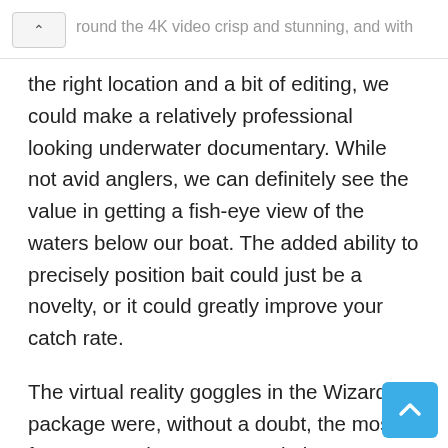…round the 4K video crisp and stunning, and with
the right location and a bit of editing, we could make a relatively professional looking underwater documentary. While not avid anglers, we can definitely see the value in getting a fish-eye view of the waters below our boat. The added ability to precisely position bait could just be a novelty, or it could greatly improve your catch rate.
The virtual reality goggles in the Wizard package were, without a doubt, the most fun aspect. They're not revolutionary as we've seen airborne drones with similar features but not many that bring the same first-person perspective below the waves.